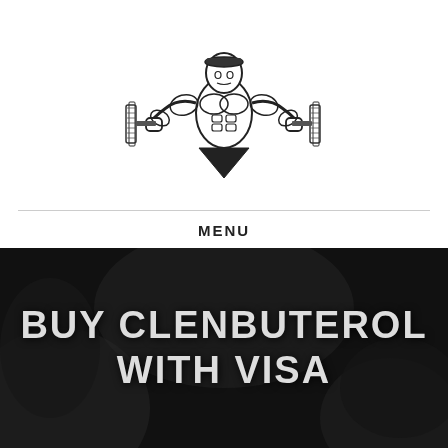[Figure (illustration): Black and white illustration of a muscular bodybuilder figure holding large barbells/weights on each side, with a triangular base, serving as a logo/mascot]
MENU
[Figure (photo): Dark, moody background photo of a person in a gym or athletic setting, heavily darkened, with large white bold text overlay reading BUY CLENBUTEROL WITH VISA]
BUY CLENBUTEROL WITH VISA